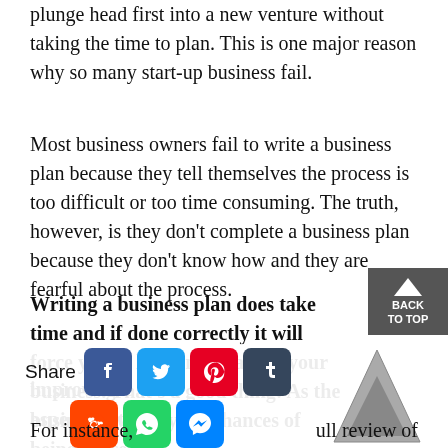plunge head first into a new venture without taking the time to plan. This is one major reason why so many start-up business fail.
Most business owners fail to write a business plan because they tell themselves the process is too difficult or too time consuming. The truth, however, is they don't complete a business plan because they don't know how and they are fearful about the process.
Writing a business plan does take time and if done correctly it will force you to learn more about your business. That's a good thing! As the business owner, your chances of being successful improve greatly the more you know about all aspects of t
For instance,
ull review of
[Figure (infographic): Social share bar with icons for Facebook, Twitter, Pinterest, Tumblr, Reddit, WhatsApp, Messenger, and a share label. Also a decorative downward triangle graphic in grey.]
[Figure (other): Back to top button with upward arrow in dark grey]